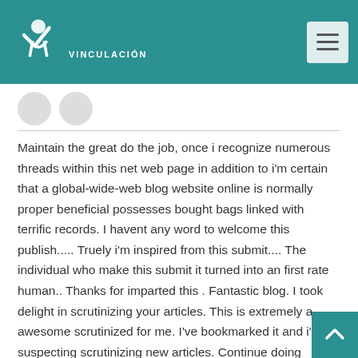UDS Vinculación
[Figure (logo): UDS Vinculación logo with white figure and check mark on teal background]
Maintain the great do the job, once i recognize numerous threads within this net web page in addition to i'm certain that a global-wide-web blog website online is normally proper beneficial possesses bought bags linked with terrific records. I havent any word to welcome this publish..... Truely i'm inspired from this submit.... The individual who make this submit it turned into an first rate human.. Thanks for imparted this . Fantastic blog. I took delight in scrutinizing your articles. This is extremely a awesome scrutinized for me. I've bookmarked it and i'm suspecting scrutinizing new articles. Continue doing extraordinary! Appropriate put up. Thanks for sharing with us. I simply loved your manner of presentation. I loved studying this . Thanks for sharing and maintain writing. It is good to examine blogs like this. I think